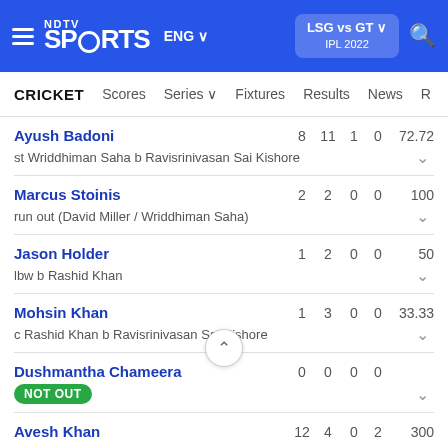NDTV Sports ENG | LSG vs GT IPL 2022
CRICKET | Scores | Series | Fixtures | Results | News
| Player | R | B | 4s | 6s | SR |
| --- | --- | --- | --- | --- | --- |
| Ayush Badoni | 8 | 11 | 1 | 0 | 72.72 |
| st Wriddhiman Saha b Ravisrinivasan Sai Kishore |  |  |  |  |  |
| Marcus Stoinis | 2 | 2 | 0 | 0 | 100 |
| run out (David Miller / Wriddhiman Saha) |  |  |  |  |  |
| Jason Holder | 1 | 2 | 0 | 0 | 50 |
| lbw b Rashid Khan |  |  |  |  |  |
| Mohsin Khan | 1 | 3 | 0 | 0 | 33.33 |
| c Rashid Khan b Ravisrinivasan Sai Kishore |  |  |  |  |  |
| Dushmantha Chameera | 0 | 0 | 0 | 0 |  |
| NOT OUT |  |  |  |  |  |
| Avesh Khan | 12 | 4 | 0 | 2 | 300 |